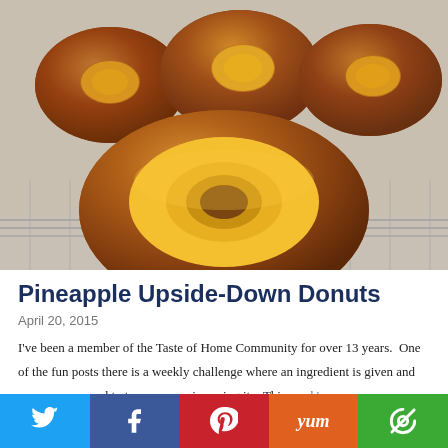[Figure (photo): Close-up photograph of pineapple upside-down donuts on a wire cooling rack. Several golden-brown ring-shaped donuts are visible, with caramelized pineapple topping. One large donut with a bright pineapple ring is in the foreground.]
Pineapple Upside-Down Donuts
April 20, 2015
I've been a member of the Taste of Home Community for over 13 years.  One of the fun posts there is a weekly challenge where an ingredient is given and you are supposed to try a new recipe using it.   This week's     …